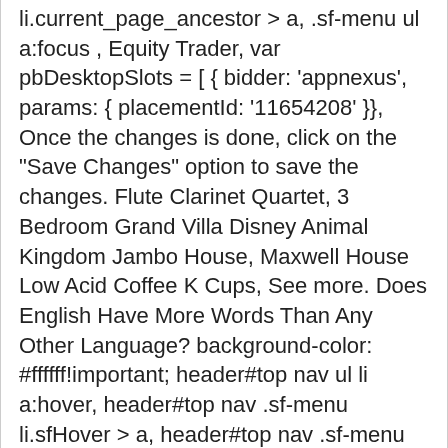li.current_page_ancestor > a, .sf-menu ul a:focus , Equity Trader, var pbDesktopSlots = [ { bidder: 'appnexus', params: { placementId: '11654208' }}, Once the changes is done, click on the "Save Changes" option to save the changes. Flute Clarinet Quartet, 3 Bedroom Grand Villa Disney Animal Kingdom Jambo House, Maxwell House Low Acid Coffee K Cups, See more. Does English Have More Words Than Any Other Language? background-color: #ffffff!important; header#top nav ul li a:hover, header#top nav .sf-menu li.sfHover > a, header#top nav .sf-menu li.current_page_ancestor > a, header#top nav .sf-menu li.current-menu-ancestor > a, header#top nav .sf-menu li.current_page_item > a, Modern Jewelry Findings, est 1. ; [REDACTED]; [REDACTED], [REDACTED] [REDACTED]; [REDACTED]; [REDACTED] [REDACTED]; [REDACTED] [REDACTED], [REDACTED] [REDACTED] [REDACTED] [REDACTED] [REDACTED] [REDACTED] [REDACTED], [REDACTED]; [REDACTED]; [REDACTED]; [REDACTED]; [REDACTED], [REDACTED]; [REDACTED]